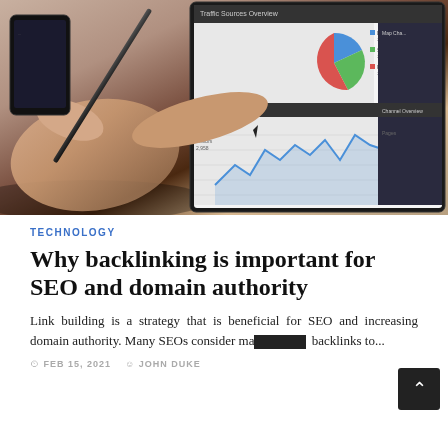[Figure (photo): A hand holding a stylus pointing at a tablet showing analytics dashboard with pie chart and line chart (Traffic Sources Overview with Direct Traffic, Search Engines, Referring Sites), with a smartphone in the background on a wooden surface]
TECHNOLOGY
Why backlinking is important for SEO and domain authority
Link building is a strategy that is beneficial for SEO and increasing domain authority. Many SEOs consider ma... backlinks to...
FEB 15, 2021   JOHN DUKE